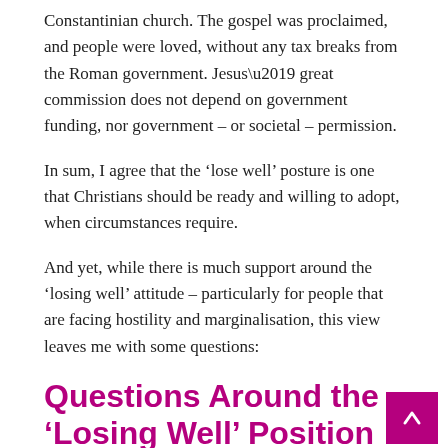Constantinian church. The gospel was proclaimed, and people were loved, without any tax breaks from the Roman government. Jesus’ great commission does not depend on government funding, nor government – or societal – permission.
In sum, I agree that the ‘lose well’ posture is one that Christians should be ready and willing to adopt, when circumstances require.
And yet, while there is much support around the ‘losing well’ attitude – particularly for people that are facing hostility and marginalisation, this view leaves me with some questions:
Questions Around the ‘Losing Well’ Position
1)  Is ‘losing well’ the only ‘posture’ for Christians under pressure? Or does scripture allow/encourage